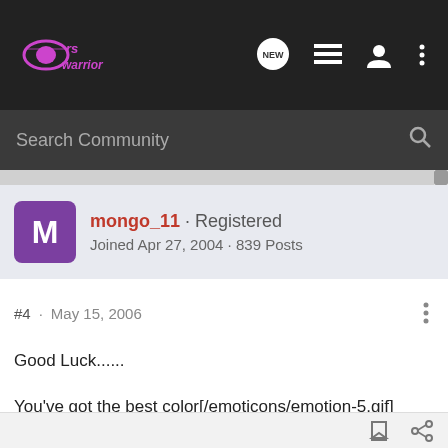[Figure (logo): RS Warrior forum logo with stylized text on dark navbar]
Search Community
mongo_11 · Registered
Joined Apr 27, 2004 · 839 Posts
#4 · May 15, 2006
Good Luck......

You've got the best color[/emoticons/emotion-5.gif]